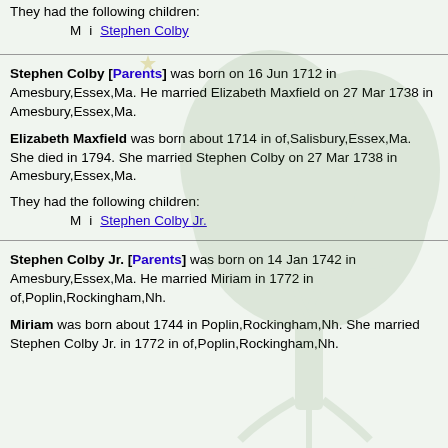They had the following children:
M  i  Stephen Colby
Stephen Colby [Parents] was born on 16 Jun 1712 in Amesbury,Essex,Ma. He married Elizabeth Maxfield on 27 Mar 1738 in Amesbury,Essex,Ma.
Elizabeth Maxfield was born about 1714 in of,Salisbury,Essex,Ma. She died in 1794. She married Stephen Colby on 27 Mar 1738 in Amesbury,Essex,Ma.
They had the following children:
M  i  Stephen Colby Jr.
Stephen Colby Jr. [Parents] was born on 14 Jan 1742 in Amesbury,Essex,Ma. He married Miriam in 1772 in of,Poplin,Rockingham,Nh.
Miriam was born about 1744 in Poplin,Rockingham,Nh. She married Stephen Colby Jr. in 1772 in of,Poplin,Rockingham,Nh.